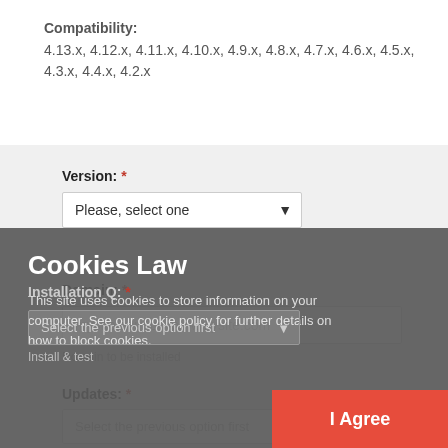Compatibility:
4.13.x, 4.12.x, 4.11.x, 4.10.x, 4.9.x, 4.8.x, 4.7.x, 4.6.x, 4.5.x, 4.3.x, 4.4.x, 4.2.x
Version: *
Please, select one
Domain: *
mysite.com or www.mysite.com
Domain to be installed
Updates: *
Select the previous option first
+Real Updates instead of 3 months regular Updates
Installation Q: *
Select the previous option first
Install & test
Cookies Law
This site uses cookies to store information on your computer. See our cookie policy for further details on how to block cookies.
I Agree